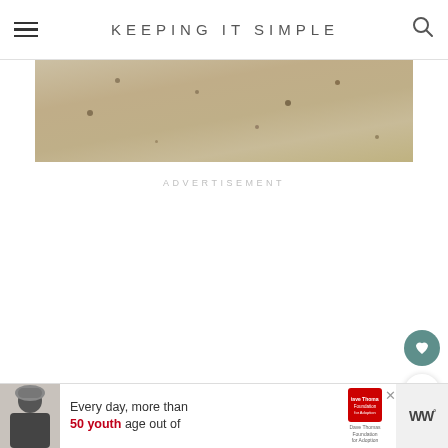KEEPING IT SIMPLE
[Figure (photo): Close-up photo of a beige/tan textured surface (possibly bread dough or a sandy surface) with small dark spots scattered across it]
ADVERTISEMENT
[Figure (infographic): Bottom advertisement banner: person in winter hat on left, text reading 'Every day, more than 50 youth age out of', Dave Thomas Foundation for Adoption logo, and WW logo on right]
WHAT'S NEXT → Italian Bread Pudding wit...